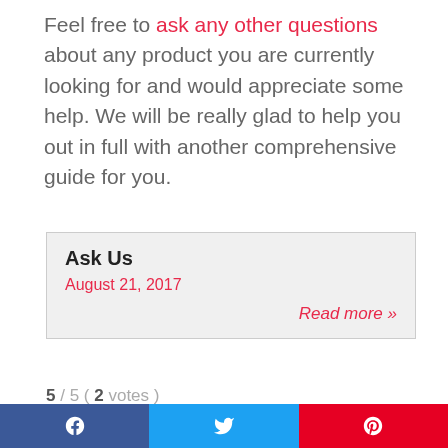Feel free to ask any other questions about any product you are currently looking for and would appreciate some help. We will be really glad to help you out in full with another comprehensive guide for you.
Ask Us
August 21, 2017
Read more »
5 / 5 ( 2 votes )
Author   Recent Posts